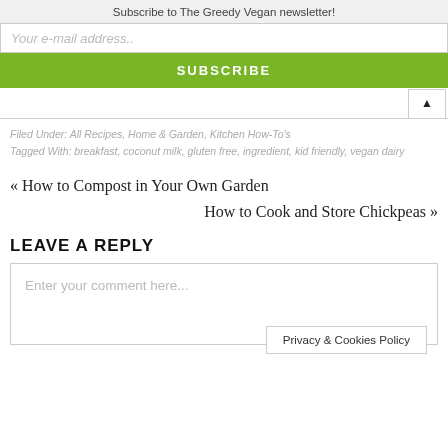Subscribe to The Greedy Vegan newsletter!
Your e-mail address..
SUBSCRIBE
Filed Under: All Recipes, Home & Garden, Kitchen How-To's
Tagged With: breakfast, coconut milk, gluten free, ingredient, kid friendly, vegan dairy
« How to Compost in Your Own Garden
How to Cook and Store Chickpeas »
LEAVE A REPLY
Enter your comment here...
Privacy & Cookies Policy